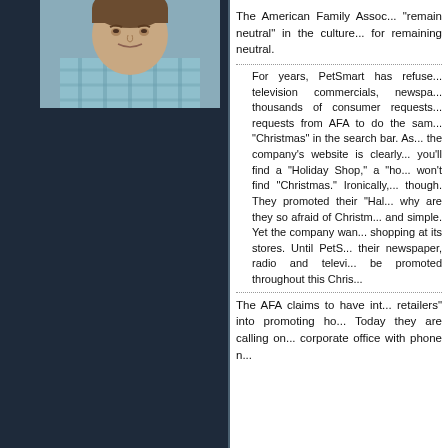[Figure (photo): Headshot of a man wearing a plaid shirt, photographed from the shoulders up against a neutral background]
The American Family Assoc... "remain neutral" in the culture... for remaining neutral.
For years, PetSmart has refused... television commercials, newspa... thousands of consumer requests... requests from AFA to do the sam... "Christmas" in the search bar. As... the company's website is clearly... you'll find a "Holiday Shop," a "ho... won't find "Christmas." Ironically,... though. They promoted their "Hal... why are they so afraid of Christm... and simple. Yet the company wan... shopping at its stores. Until PetS... their newspaper, radio and televi... be promoted throughout this Chris...
The AFA claims to have int... retailers" into promoting ho... Today they are calling on... corporate office with phone n...